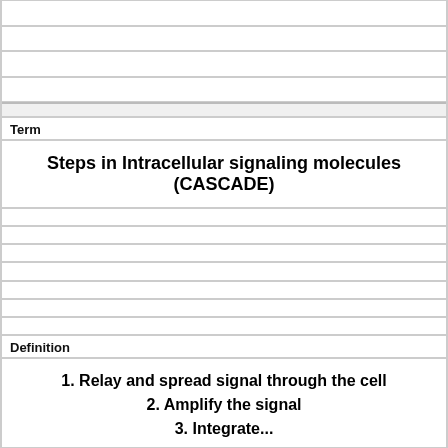Term
Steps in Intracellular signaling molecules (CASCADE)
Definition
1. Relay and spread signal through the cell
2. Amplify the signal
3. Integrate...